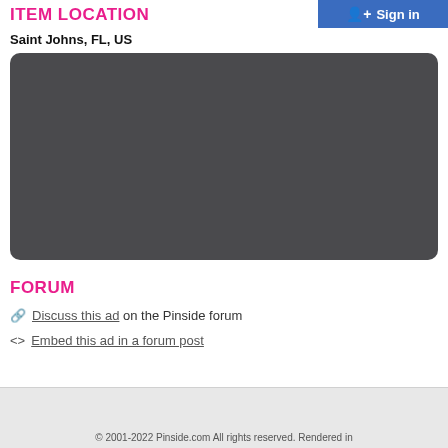ITEM LOCATION
Sign in
Saint Johns, FL, US
[Figure (other): Map placeholder showing a dark gray rounded rectangle representing an embedded map of Saint Johns, FL, US]
FORUM
🔗 Discuss this ad on the Pinside forum
<> Embed this ad in a forum post
© 2001-2022 Pinside.com All rights reserved. Rendered in